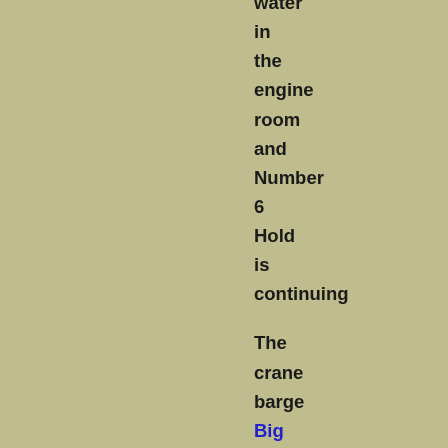water in the engine room and Number 6 Hold is continuing

The crane barge Big Foot is continuing to remove containers from below the vessel's deck. Good progress